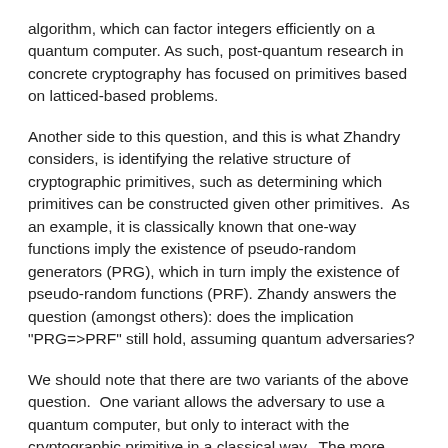algorithm, which can factor integers efficiently on a quantum computer. As such, post-quantum research in concrete cryptography has focused on primitives based on latticed-based problems.
Another side to this question, and this is what Zhandry considers, is identifying the relative structure of cryptographic primitives, such as determining which primitives can be constructed given other primitives.  As an example, it is classically known that one-way functions imply the existence of pseudo-random generators (PRG), which in turn imply the existence of pseudo-random functions (PRF). Zhandy answers the question (amongst others): does the implication "PRG=>PRF" still hold, assuming quantum adversaries?
We should note that there are two variants of the above question.  One variant allows the adversary to use a quantum computer, but only to interact with the cryptographic primitive in a classical way.  The more interesting variant that Zhandry considers is where the interaction can be quantum, and because of the nature of the quantum model, any query